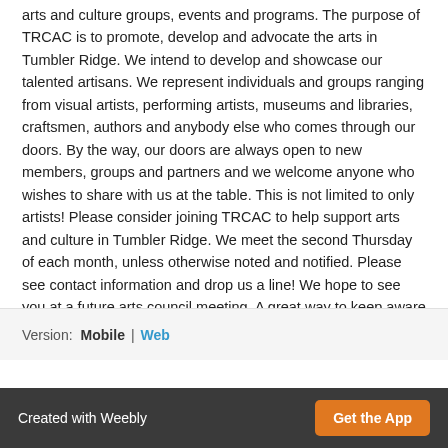arts and culture groups, events and programs. The purpose of TRCAC is to promote, develop and advocate the arts in Tumbler Ridge. We intend to develop and showcase our talented artisans. We represent individuals and groups ranging from visual artists, performing artists, museums and libraries, craftsmen, authors and anybody else who comes through our doors. By the way, our doors are always open to new members, groups and partners and we welcome anyone who wishes to share with us at the table. This is not limited to only artists! Please consider joining TRCAC to help support arts and culture in Tumbler Ridge. We meet the second Thursday of each month, unless otherwise noted and notified. Please see contact information and drop us a line! We hope to see you at a future arts council meeting. A great way to keep aware of events and programs in town is to join the Facebook site "Tumbler Ridge Events Notice." We try to post and encourage others to post all events. We also have a Facebook page called "Tumbler Ridge Community Arts Council".
Version:  Mobile  |  Web
Created with Weebly   Get the App